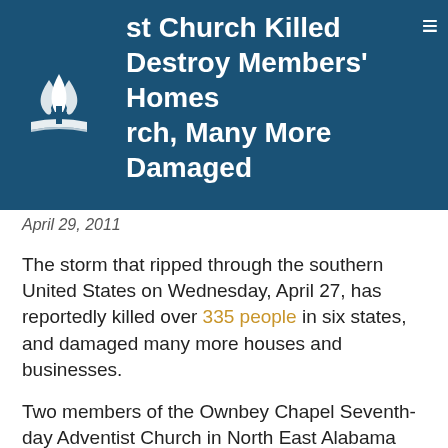st Church Killed Destroy Members' Homes rch, Many More Damaged
April 29, 2011
The storm that ripped through the southern United States on Wednesday, April 27, has reportedly killed over 335 people in six states, and damaged many more houses and businesses.
Two members of the Ownbey Chapel Seventh-day Adventist Church in North East Alabama and one member of the Apison Seventh-day Adventist Church in Southeastern Tennessee are sadly included in those who lost their lives during this devastating storm.. The victims were members of the Gulf States and Georgia-Cumberland Conferences respectively. The church family is saddened by this news and the loss of these members.